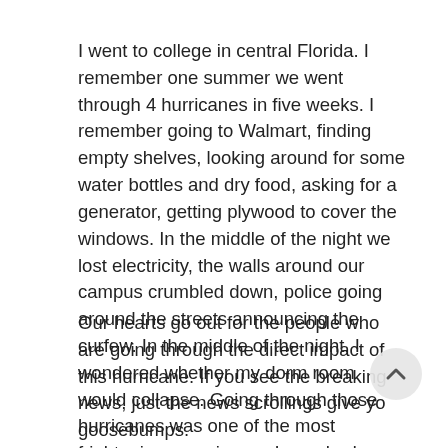I went to college in central Florida. I remember one summer we went through 4 hurricanes in five weeks. I remember going to Walmart, finding empty shelves, looking around for some water bottles and dry food, asking for a generator, getting plywood to cover the windows. In the middle of the night we lost electricity, the walls around our campus crumbled down, police going around the streets announcing the curfew. In the middle of the night, I wondered whether my dorm room would collapse. Going through those hurricanes was one of the most frightening experiences I ever had.
Our hearts go out for the people who are going through the direct impact of this hurricane. If you see the breaking news, just the news scrollings give you goosebumps.